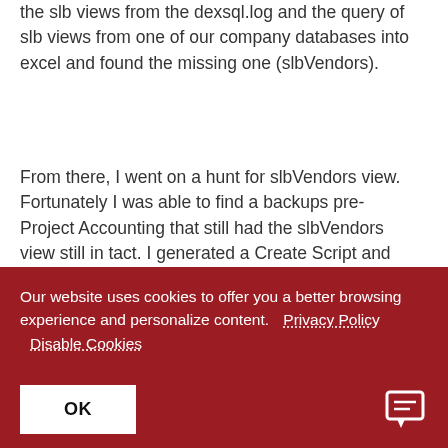the slb views from the dexsql.log and the query of slb views from one of our company databases into excel and found the missing one (slbVendors).
From there, I went on a hunt for slbVendors view. Fortunately I was able to find a backups pre-Project Accounting that still had the slbVendors view still in tact. I generated a Create Script and attempted to run it in on my production company database. HOWEVER, I received an error because the view was referencing
Our website uses cookies to offer you a better browsing experience and personalize content.  Privacy Policy  Disable Cookies
OK